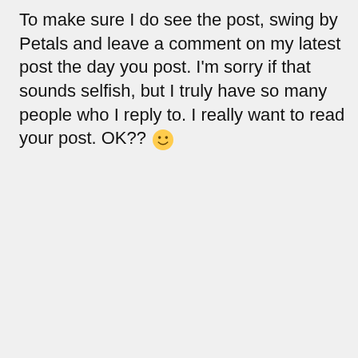To make sure I do see the post, swing by Petals and leave a comment on my latest post the day you post. I'm sorry if that sounds selfish, but I truly have so many people who I reply to. I really want to read your post. OK?? 🙂
★ Liked by 1 person
↳ Reply
Privacy & Cookies: This site uses cookies. By continuing to use this website, you agree to their use. To find out more, including how to control cookies, see here: Cookie Policy
Close and accept